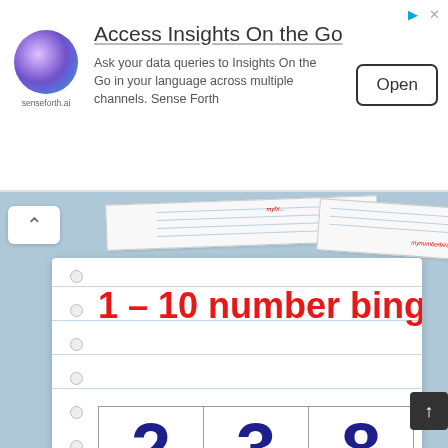[Figure (screenshot): Ad banner for SenseForth.ai - Access Insights On the Go with Open button]
Access Insights On the Go
Ask your data queries to Insights On the Go in your language across multiple channels. Sense Forth
[Figure (screenshot): Scattered bingo card thumbnails with mynumberbingocards.com watermark]
1 – 10 number bingo
| 2 | 3 | 8 |
| 4 | 9 | 7 |